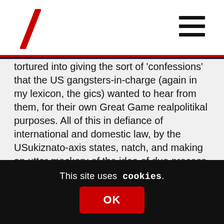tortured into giving the sort of 'confessions' that the US gangsters-in-charge (again in my lexicon, the gics) wanted to hear from them, for their own Great Game realpolitikal purposes. All of this in defiance of international and domestic law, by the USukiznato-axis states, natch, and making an utter mockery of the idea of due process.
The Syrian government was behaving more like a small mafia famiglia accepting offers they couldn't refuse from the biggest famiglia, just to keep in with them – though that was at that time. Also, there are stories of beatings
This site uses cookies.
OK